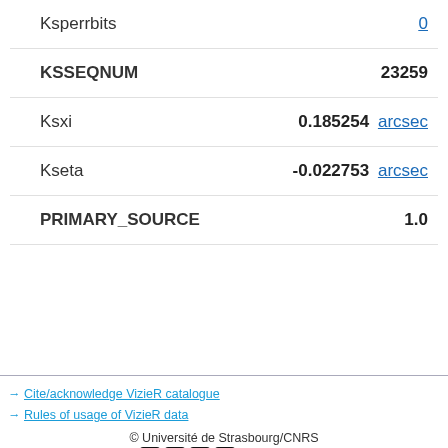Ksperrbits  0
KSSEQNUM  23259
Ksxi  0.185254 arcsec
Kseta  -0.022753 arcsec
PRIMARY_SOURCE  1.0
→ Cite/acknowledge VizieR catalogue
→ Rules of usage of VizieR data
© Université de Strasbourg/CNRS
Contact